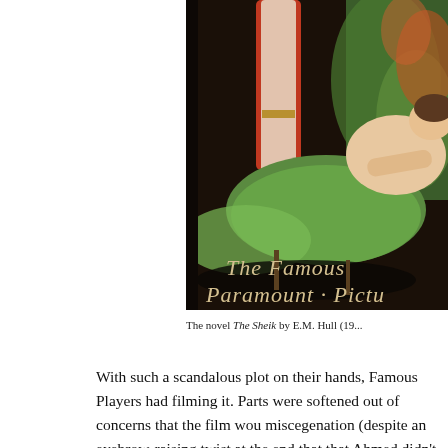[Figure (illustration): Book or movie poster cover illustration showing a reclining woman in a green dress with a standing figure in red and white robes, with ornate foliage in the background. Text at bottom reads 'The Famous Paramount Pictu' (truncated).]
The novel The Sheik by E.M. Hull (19...
With such a scandalous plot on their hands, Famous Players had filming it. Parts were softened out of concerns that the film wou miscegenation (despite an eyebrow-raising twist at the end that that Ahmed didn't subject Diana to physical harm during her s...